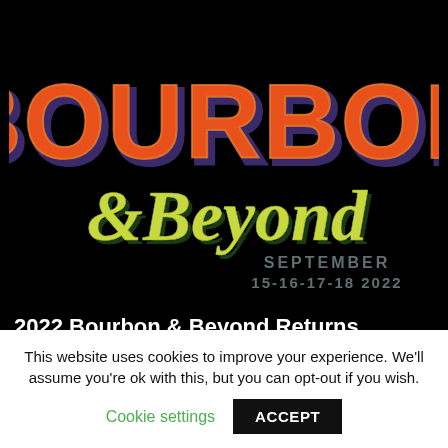[Figure (logo): Bourbon & Beyond event logo on black background. Large stylized orange block letters spelling BOURBON at top, below it cursive yellow-green script '& Beyond', and below that 'SEPTEMBER 15-16-17-18 2022' in gray/teal text.]
2022 Bourbon & Beyond Returns Bringing Music, Dining and Bourbon Tastings September 15-18, 2022 Louisville, Kentucky (USA)
This website uses cookies to improve your experience. We'll assume you're ok with this, but you can opt-out if you wish.
Cookie settings   ACCEPT